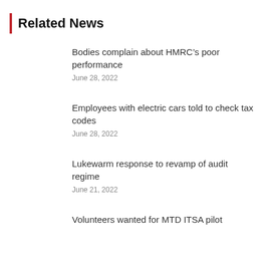Related News
Bodies complain about HMRC’s poor performance
June 28, 2022
Employees with electric cars told to check tax codes
June 28, 2022
Lukewarm response to revamp of audit regime
June 21, 2022
Volunteers wanted for MTD ITSA pilot